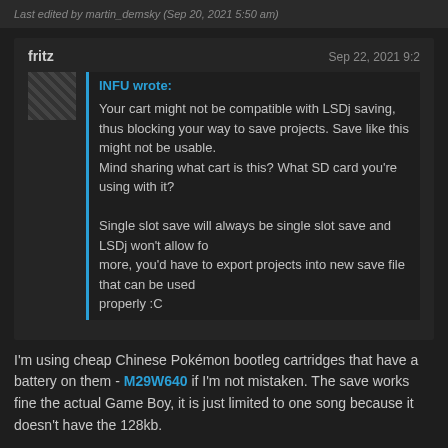Last edited by martin_demsky (Sep 20, 2021 5:50 am)
fritz
Sep 22, 2021 9:2...
INFU wrote:
Your cart might not be compatible with LSDj saving, thus blocking your way to save projects. Save like this might not be usable.
Mind sharing what cart is this? What SD card you're using with it?

Single slot save will always be single slot save and LSDj won't allow for more, you'd have to export projects into new save file that can be used properly :C
I'm using cheap Chinese Pokémon bootleg cartridges that have a battery on them - M29W640 if I'm not mistaken. The save works fine the actual Game Boy, it is just limited to one song because it doesn't have the 128kb.
That's exactly what I'm trying to do: generate a single slot file with a